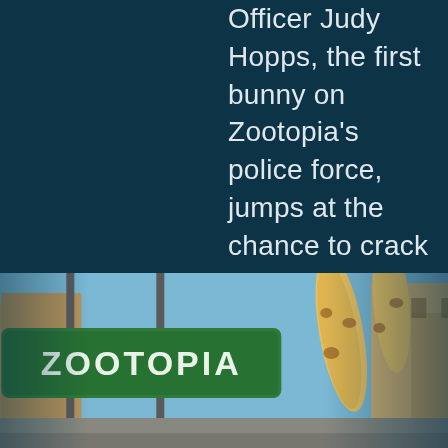Officer Judy Hopps, the first bunny on Zootopia's police force, jumps at the chance to crack her first case – even if it means
[Figure (photo): A still from the animated movie Zootopia showing a green street sign reading 'ZOOTOPIA' with animated giraffe characters and a cityscape in the background against a blue sky.]